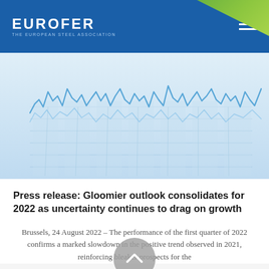EUROFER — THE EUROPEAN STEEL ASSOCIATION
[Figure (continuous-plot): Abstract line chart showing market trend fluctuations on a blue grid background, used as a decorative hero image]
Press release: Gloomier outlook consolidates for 2022 as uncertainty continues to drag on growth
Brussels, 24 August 2022 – The performance of the first quarter of 2022 confirms a marked slowdown in the positive trend observed in 2021, reinforcing bleaker prospects for the